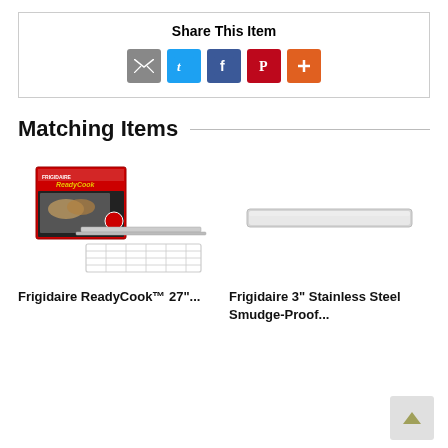Share This Item
[Figure (infographic): Row of social sharing icon buttons: email (grey), Twitter (blue), Facebook (blue), Pinterest (red), plus/more (orange)]
Matching Items
[Figure (photo): Frigidaire ReadyCook 27" product image showing box and cooking rack/tray accessories]
Frigidaire ReadyCook™ 27"...
[Figure (photo): Frigidaire 3" Stainless Steel Smudge-Proof product image showing a flat stainless steel shelf or drawer]
Frigidaire 3" Stainless Steel Smudge-Proof...